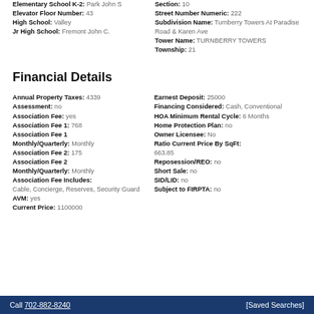Elementary School K-2: Park John S
Elevator Floor Number: 43
High School: Valley
Jr High School: Fremont John C.
Section: 10
Street Number Numeric: 222
Subdivision Name: Turnberry Towers At Paradise Road & Karen Ave
Tower Name: TURNBERRY TOWERS
Township: 21
Financial Details
Annual Property Taxes: 4339
Assessment: no
Association Fee: yes
Association Fee 1: 768
Association Fee 1 Monthly/Quarterly: Monthly
Association Fee 2: 175
Association Fee 2 Monthly/Quarterly: Monthly
Association Fee Includes: Cable, Concierge, Reserves, Security Guard
AVM: yes
Current Price: 1100000
Earnest Deposit: 25000
Financing Considered: Cash, Conventional
HOA Minimum Rental Cycle: 6 Months
Home Protection Plan: no
Owner Licensee: No
Ratio Current Price By SqFt: 663.85
Reposession/REO: no
Short Sale: no
SID/LID: no
Subject to FIRPTA: no
Call 702-882-8240  [Saved Searches]